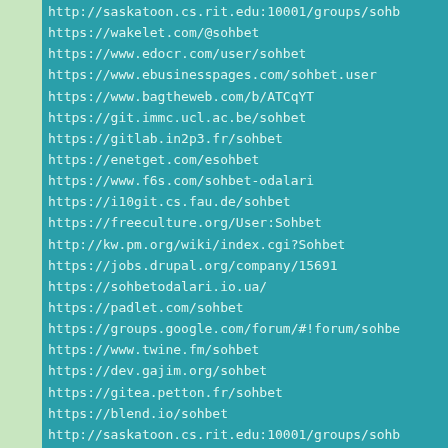http://saskatoon.cs.rit.edu:10001/groups/sohb
https://wakelet.com/@sohbet
https://www.edocr.com/user/sohbet
https://www.ebusinesspages.com/sohbet.user
https://www.bagtheweb.com/b/ATCqYT
https://git.immc.ucl.ac.be/sohbet
https://gitlab.in2p3.fr/sohbet
https://enetget.com/esohbet
https://www.f6s.com/sohbet-odalari
https://i10git.cs.fau.de/sohbet
https://freeculture.org/User:Sohbet
http://kw.pm.org/wiki/index.cgi?Sohbet
https://jobs.drupal.org/company/15691
https://sohbetodalari.io.ua/
https://padlet.com/sohbet
https://groups.google.com/forum/#!forum/sohbe
https://www.twine.fm/sohbet
https://dev.gajim.org/sohbet
https://gitea.petton.fr/sohbet
https://blend.io/sohbet
http://saskatoon.cs.rit.edu:10001/groups/sohb
https://gitlab.kitware.com/chat
https://vbscan.fisica.unimib.it/sohbetodalari
https://git.lacl.fr/sohbet
https://git.zib.de/sohbet
https://lab.louiz.org/sohbetodalari
http://old.kam-pod.gov.ua/user/sohbet/